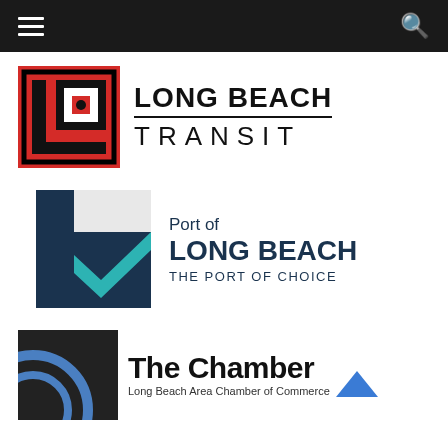Navigation bar with hamburger menu and search icon
[Figure (logo): Long Beach Transit logo: red square with LBT lettering and 'LONG BEACH TRANSIT' text beside it]
[Figure (logo): Port of Long Beach logo: teal square with dark blue chevron/arrow graphic, text reads 'Port of LONG BEACH THE PORT OF CHOICE']
[Figure (logo): The Chamber logo: dark square with circular arc graphic, text reads 'The Chamber Long Beach Area Chamber of Commerce' with a blue chevron/caret icon]